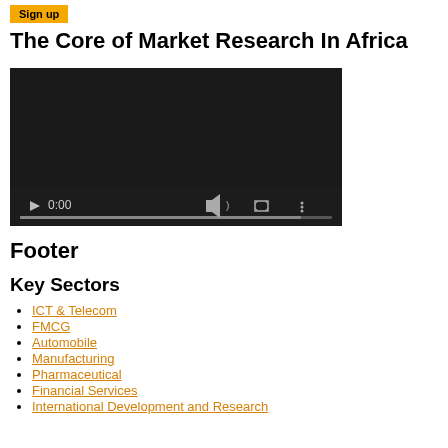Sign up
The Core of Market Research In Africa
[Figure (screenshot): Embedded video player with dark background, showing 0:00 timestamp, play button, volume icon, fullscreen icon, and more options icon, with a progress bar at the bottom.]
Footer
Key Sectors
ICT & Telecom
FMCG
Automobile
Manufacturing
Pharmaceutical
Financial Services
International Development and Research